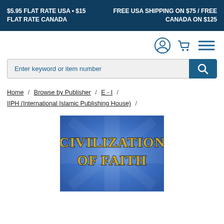$5.95 FLAT RATE USA • $15 FLAT RATE CANADA | FREE USA SHIPPING ON $75 / FREE CANADA ON $125
[Figure (screenshot): Navigation icons: user account circle, shopping cart, hamburger menu — all in dark blue style]
Enter keyword or item number
Home / Browse by Publisher / E - I / IIPH (International Islamic Publishing House) /
[Figure (photo): Book cover for 'Civilization of Faith' with gold text on a blue background]